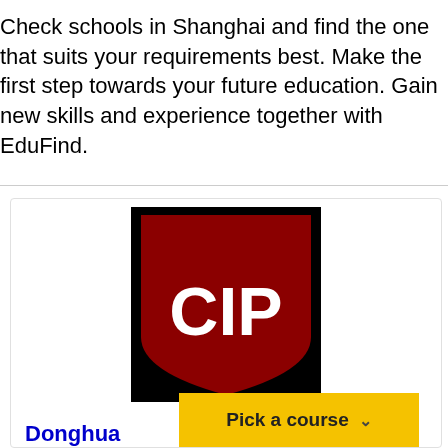Check schools in Shanghai and find the one that suits your requirements best. Make the first step towards your future education. Gain new skills and experience together with EduFind.
[Figure (logo): CIP shield logo — dark red shield shape with white letters CIP on black background]
Donghua
Pick a course ∨